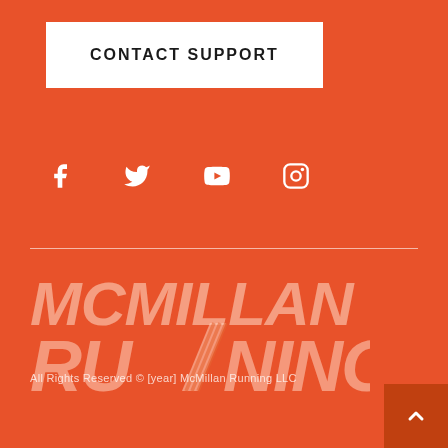CONTACT SUPPORT
[Figure (illustration): Social media icons: Facebook, Twitter, YouTube, Instagram in white on orange background]
[Figure (logo): McMillan Running logo in faded salmon/light orange italic bold text on orange background]
All Rights Reserved © [year] McMillan Running LLC